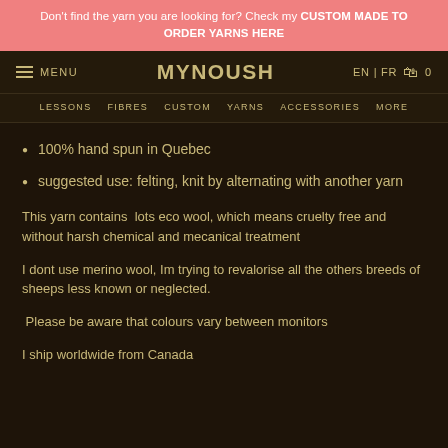Don't find the yarn you are looking for? Check my CUSTOM MADE TO ORDER YARNS HERE
MENU | MYNOUSH | EN | FR | 0
LESSONS  FIBRES  CUSTOM  YARNS  ACCESSORIES  MORE
100% hand spun in Quebec
suggested use: felting, knit by alternating with another yarn
This yarn contains  lots eco wool, which means cruelty free and without harsh chemical and mecanical treatment
I dont use merino wool, Im trying to revalorise all the others breeds of sheeps less known or neglected.
Please be aware that colours vary between monitors
I ship worldwide from Canada